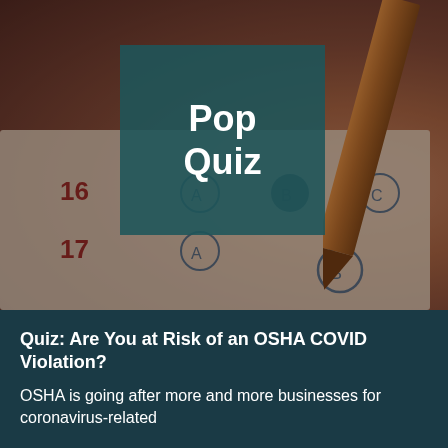[Figure (photo): A close-up photo of a multiple-choice exam answer sheet with a pencil filling in bubbles. Numbers 16 and 17 are visible with lettered answer choices (A, B, C). A pencil is shown from upper right pointing toward the sheet. Overlaid with a semi-transparent teal rectangle containing the text 'Pop Quiz'.]
Pop Quiz
Quiz: Are You at Risk of an OSHA COVID Violation?
OSHA is going after more and more businesses for coronavirus-related